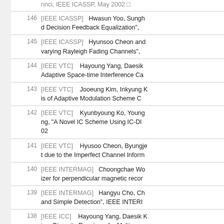nnci, IEEE ICASSP, May 2002
146  [IEEE ICASSP]  Hwasun Yoo, Sungh... d Decision Feedback Equalization",
145  [IEEE ICASSP]  Hyunsoo Cheon and... varying Rayleigh Fading Channels",
144  [IEEE VTC]  Hayoung Yang, Daesik... Adaptive Space-time Interference Ca...
143  [IEEE VTC]  Jooeung Kim, Inkyung K... is of Adaptive Modulation Scheme C...
142  [IEEE VTC]  Kyunbyoung Ko, Young... ng, "A Novel IC Scheme Using IC-Dl... 02
141  [IEEE VTC]  Hyusoo Cheon, Byungje... t due to the Imperfect Channel Inform...
140  [IEEE INTERMAG]  Choongchae Wo... izer for perpendicular magnetic recor...
139  [IEEE INTERMAG]  Hangyu Cho, Ch... and Simple Detection", IEEE INTERI...
138  [IEEE ICC]  Hayoung Yang, Daesik K... ime Diversity Receivers for Multiuse...
137  [IEEE GLOBECOM]  Byungjoon Park...